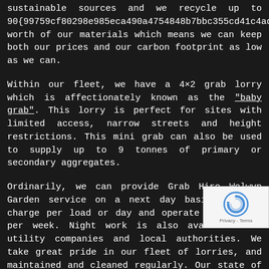sustainable sources and we recycle up to 90{99759cf80298e985eca490a4754848b7bbc355cd41c4addc worth of our materials which means we can keep both our prices and our carbon footprint as low as we can.
Within our fleet, we have a 4×2 grab lorry which is affectionately known as the "baby grab". This lorry is perfect for sites with limited access, narrow streets and height restrictions. This mini grab can also be used to supply up to 9 tonnes of primary or secondary aggregates.
Ordinarily, we can provide Grab Hire Welwyn Garden service on a next day basis. We can charge per load or day and operate seven days per week. Night work is also available for utility companies and local authorities. We take great pride in our fleet of lorries, and maintained and cleaned regularly. Our state of tracking system means we can monitor, ada
[Figure (other): reCAPTCHA badge overlay in bottom right corner showing the reCAPTCHA logo and 'Privacy - Terms' text]